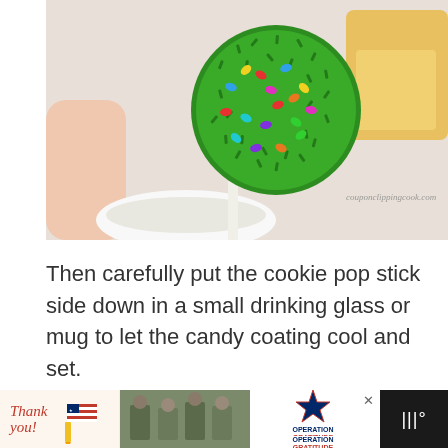[Figure (photo): A cookie pop (cake pop) covered in green sprinkles and colorful confetti sprinkles, held on a white stick above a small white bowl. The watermark 'couponclippingcook.com' appears on the image. Background shows blurred baking supplies.]
Then carefully put the cookie pop stick side down in a small drinking glass or mug to let the candy coating cool and set.
[Figure (photo): Partial view of the bottom of another food photo, showing colorful candy/sweets items.]
[Figure (other): Advertisement bar at the bottom. Features 'Thank you!' handwritten text with a US flag pencil graphic, a photo of soldiers, and an 'Operation Gratitude' logo with a star. Dark background on the right with weather icon showing 'III°'.]